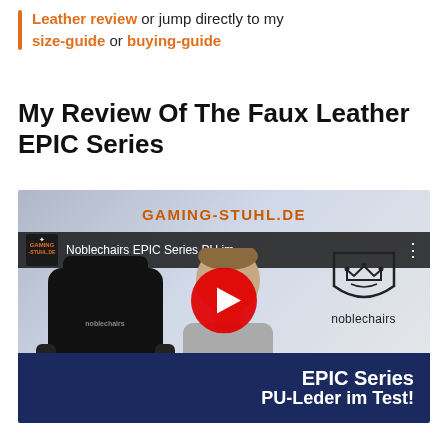Leather review or jump directly to my size-guide or buying-guide
My Review Of The Faux Leather EPIC Series
[Figure (screenshot): YouTube video thumbnail for Noblechairs EPIC Series PU-Leder im Test video, showing a gaming chair on the left, a man in the center, a play button overlay, the noblechairs crown logo and brand name on the right, and a navy bar at the bottom reading 'EPIC Series PU-Leder im Test!' with 'GAMING-STUHL.DE' text at the top.]